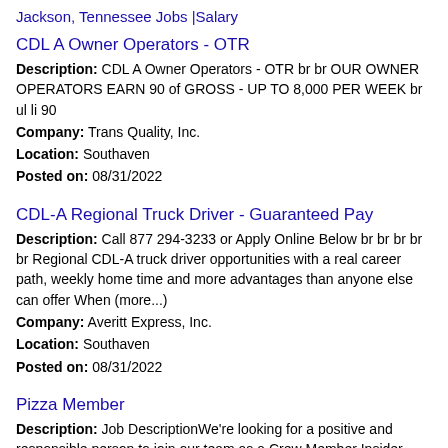Jackson, Tennessee Jobs |Salary
CDL A Owner Operators - OTR
Description: CDL A Owner Operators - OTR br br OUR OWNER OPERATORS EARN 90 of GROSS - UP TO 8,000 PER WEEK br ul li 90
Company: Trans Quality, Inc.
Location: Southaven
Posted on: 08/31/2022
CDL-A Regional Truck Driver - Guaranteed Pay
Description: Call 877 294-3233 or Apply Online Below br br br br br Regional CDL-A truck driver opportunities with a real career path, weekly home time and more advantages than anyone else can offer When (more...)
Company: Averitt Express, Inc.
Location: Southaven
Posted on: 08/31/2022
Pizza Member
Description: Job DescriptionWe're looking for a positive and responsible person to join our team as a Crew Member Insider .Our Insiders are the key ingredient of our success, creating great pizzas and exceptional (more...)